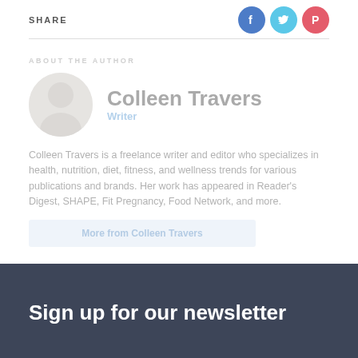SHARE
[Figure (illustration): Social media share icons: Facebook (blue circle), Twitter (light blue circle), Pinterest (red circle)]
ABOUT THE AUTHOR
[Figure (photo): Author headshot of Colleen Travers]
Colleen Travers
Writer
Colleen Travers is a freelance writer and editor who specializes in health, nutrition, diet, fitness, and wellness trends for various publications and brands. Her work has appeared in Reader's Digest, SHAPE, Fit Pregnancy, Food Network, and more.
More from Colleen Travers
Sign up for our newsletter